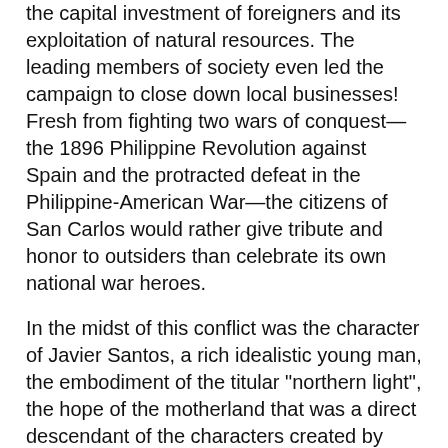the capital investment of foreigners and its exploitation of natural resources. The leading members of society even led the campaign to close down local businesses! Fresh from fighting two wars of conquest—the 1896 Philippine Revolution against Spain and the protracted defeat in the Philippine-American War—the citizens of San Carlos would rather give tribute and honor to outsiders than celebrate its own national war heroes.
In the midst of this conflict was the character of Javier Santos, a rich idealistic young man, the embodiment of the titular "northern light", the hope of the motherland that was a direct descendant of the characters created by José Rizal in his twin novels of Philippine revolution, Noli Me Tangere (1887) and El Filibusterismo (1891). Javier was an Ilustrado-like figure modeled from Rizal's double identities of Juan Crisostomo Ibarra and the mysterious figure of Simoun who fomented revolution and anarchy years before Joseph Conrad tackled terrorism and anarchy in The Secret Agent (1907).
As local businessman competing against foreign capital, Javier Santos had much to be discontented about.